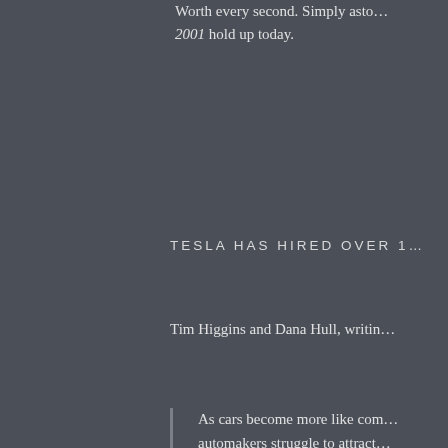Worth every second. Simply astonishing how well A.I. from 2001 hold up today.
TESLA HAS HIRED OVER 1...
Tim Higgins and Dana Hull, writing...
As cars become more like computers, automakers struggle to attract the talent. ability to lure people from App... cars of the future. “It’s almost... Jonas, an auto industry analys... goes from 10 percent of the v... years, that disadvantage [for t... intensify.”
Employees who have worked a... Tesla was based on its cars an... like Steve Jobs did, for a mercu... attention to detail. A former T...